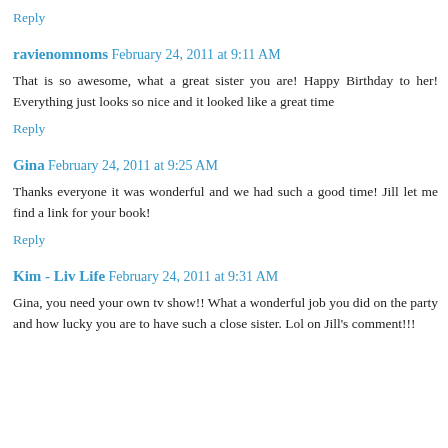Reply
ravienomnoms February 24, 2011 at 9:11 AM
That is so awesome, what a great sister you are! Happy Birthday to her! Everything just looks so nice and it looked like a great time
Reply
Gina February 24, 2011 at 9:25 AM
Thanks everyone it was wonderful and we had such a good time! Jill let me find a link for your book!
Reply
Kim - Liv Life February 24, 2011 at 9:31 AM
Gina, you need your own tv show!! What a wonderful job you did on the party and how lucky you are to have such a close sister. Lol on Jill's comment!!!